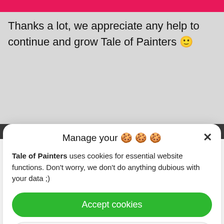Thanks a lot, we appreciate any help to continue and grow Tale of Painters 🙂
Manage your 🍪🍪🍪
Tale of Painters uses cookies for essential website functions. Don't worry, we don't do anything dubious with your data ;)
Accept cookies
Deny
View preferences